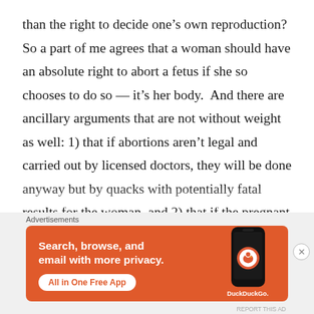than the right to decide one's own reproduction?  So a part of me agrees that a woman should have an absolute right to abort a fetus if she so chooses to do so — it's her body.  And there are ancillary arguments that are not without weight as well: 1) that if abortions aren't legal and carried out by licensed doctors, they will be done anyway but by quacks with potentially fatal results for the woman, and 2) that if the pregnant woman is poor and without material support from either a husband or a family or both, by forcing the woman to have the baby, you are condemning her to a financially precarious and
[Figure (screenshot): DuckDuckGo advertisement banner with orange background. Text reads 'Search, browse, and email with more privacy. All in One Free App' with DuckDuckGo logo and a phone image on the right.]